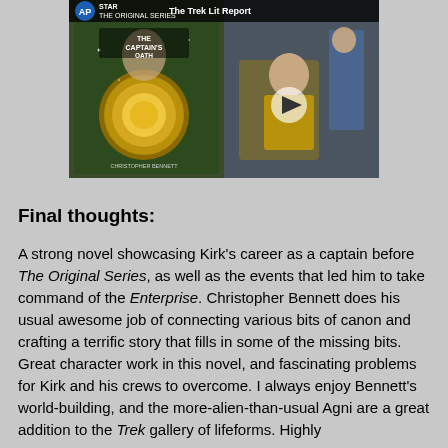[Figure (screenshot): A video thumbnail/player showing a Star Trek book cover 'The Captain's Oath' on the left side and a scene from Star Trek The Original Series with Kirk on the right side. The video header reads 'TREK The Trek Lit Report'. A play button is overlaid on the right portion.]
Final thoughts:
A strong novel showcasing Kirk's career as a captain before The Original Series, as well as the events that led him to take command of the Enterprise. Christopher Bennett does his usual awesome job of connecting various bits of canon and crafting a terrific story that fills in some of the missing bits. Great character work in this novel, and fascinating problems for Kirk and his crews to overcome. I always enjoy Bennett's world-building, and the more-alien-than-usual Agni are a great addition to the Trek gallery of lifeforms. Highly